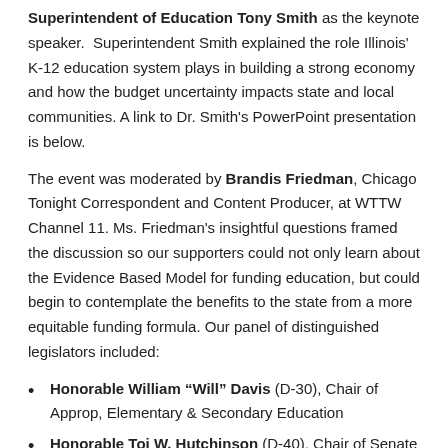Superintendent of Education Tony Smith as the keynote speaker. Superintendent Smith explained the role Illinois' K-12 education system plays in building a strong economy and how the budget uncertainty impacts state and local communities. A link to Dr. Smith's PowerPoint presentation is below.
The event was moderated by Brandis Friedman, Chicago Tonight Correspondent and Content Producer, at WTTW Channel 11. Ms. Friedman's insightful questions framed the discussion so our supporters could not only learn about the Evidence Based Model for funding education, but could begin to contemplate the benefits to the state from a more equitable funding formula. Our panel of distinguished legislators included:
Honorable William “Will” Davis (D-30), Chair of Approp, Elementary & Secondary Education
Honorable Toi W. Hutchinson (D-40), Chair of Senate Revenue Committee